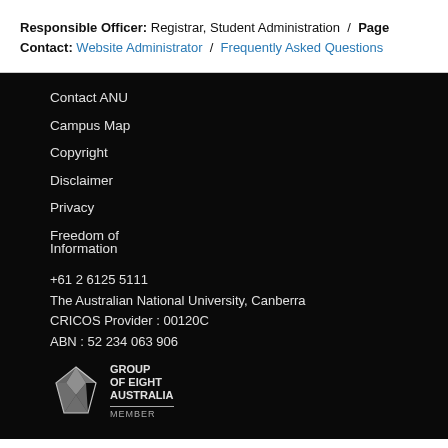Responsible Officer: Registrar, Student Administration / Page Contact: Website Administrator / Frequently Asked Questions
Contact ANU
Campus Map
Copyright
Disclaimer
Privacy
Freedom of Information
+61 2 6125 5111
The Australian National University, Canberra
CRICOS Provider : 00120C
ABN : 52 234 063 906
[Figure (logo): Group of Eight Australia Member logo with geometric diamond/crystal shape]